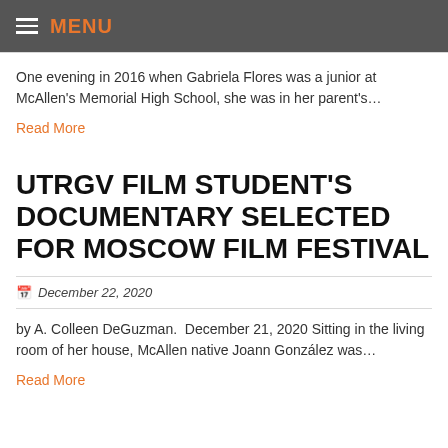MENU
One evening in 2016 when Gabriela Flores was a junior at McAllen's Memorial High School, she was in her parent's…
Read More
UTRGV FILM STUDENT'S DOCUMENTARY SELECTED FOR MOSCOW FILM FESTIVAL
December 22, 2020
by A. Colleen DeGuzman.  December 21, 2020 Sitting in the living room of her house, McAllen native Joann González was…
Read More